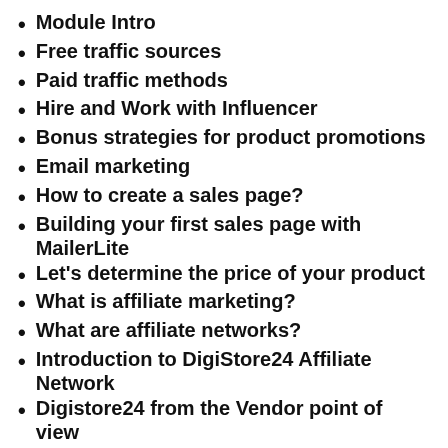Module Intro
Free traffic sources
Paid traffic methods
Hire and Work with Influencer
Bonus strategies for product promotions
Email marketing
How to create a sales page?
Building your first sales page with MailerLite
Let's determine the price of your product
What is affiliate marketing?
What are affiliate networks?
Introduction to DigiStore24 Affiliate Network
Digistore24 from the Vendor point of view
Adding your product to the Digistore24